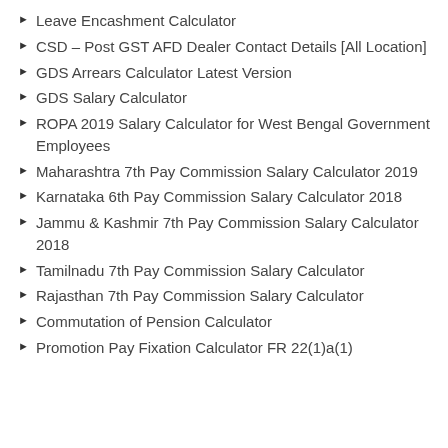Leave Encashment Calculator
CSD – Post GST AFD Dealer Contact Details [All Location]
GDS Arrears Calculator Latest Version
GDS Salary Calculator
ROPA 2019 Salary Calculator for West Bengal Government Employees
Maharashtra 7th Pay Commission Salary Calculator 2019
Karnataka 6th Pay Commission Salary Calculator 2018
Jammu & Kashmir 7th Pay Commission Salary Calculator 2018
Tamilnadu 7th Pay Commission Salary Calculator
Rajasthan 7th Pay Commission Salary Calculator
Commutation of Pension Calculator
Promotion Pay Fixation Calculator FR 22(1)a(1)